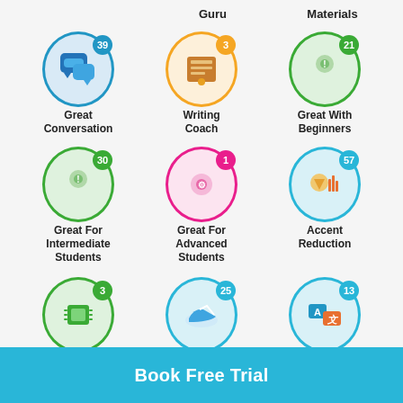Guru    Materials
[Figure (infographic): Grid of teacher specialty badges with counts. Row 1: Great Conversation (39, blue), Writing Coach (3, orange), Great With Beginners (21, green). Row 2: Great For Intermediate Students (30, green), Great For Advanced Students (1, pink), Accent Reduction (57, blue). Row 3 (partial): chip icon (3, green), sneaker icon (25, blue), translate icon (13, blue).]
Great Conversation
Writing Coach
Great With Beginners
Great For Intermediate Students
Great For Advanced Students
Accent Reduction
Book Free Trial